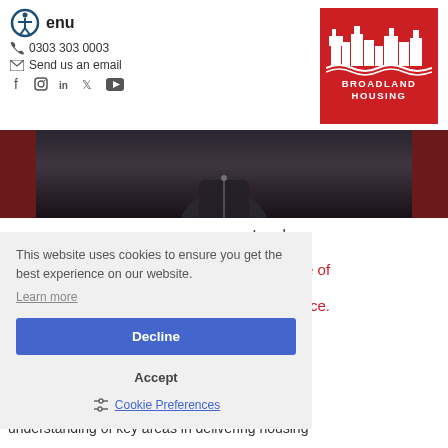Menu  0303 303 0003  Send us an email
[Figure (logo): Broadland Housing logo — white building illustration on red background with text BROADLAND HOUSING]
[Figure (photo): Cropped photo showing person in dark jacket against red background — hero banner image]
n Leader,
ed Institute of
sing Practice.
Jack has
d
understanding of key areas in delivering housing
This website uses cookies to ensure you get the best experience on our website.
Learn more
Decline
Accept
Cookie Preferences